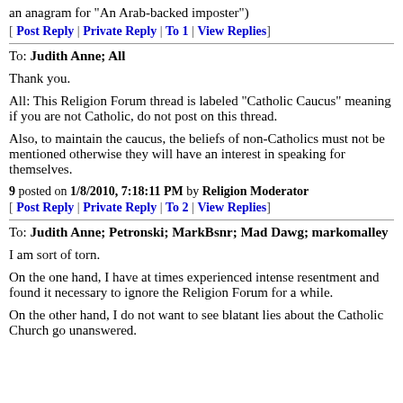an anagram for "An Arab-backed imposter")
[ Post Reply | Private Reply | To 1 | View Replies]
To: Judith Anne; All
Thank you.
All: This Religion Forum thread is labeled "Catholic Caucus" meaning if you are not Catholic, do not post on this thread.
Also, to maintain the caucus, the beliefs of non-Catholics must not be mentioned otherwise they will have an interest in speaking for themselves.
9 posted on 1/8/2010, 7:18:11 PM by Religion Moderator
[ Post Reply | Private Reply | To 2 | View Replies]
To: Judith Anne; Petronski; MarkBsnr; Mad Dawg; markomalley
I am sort of torn.
On the one hand, I have at times experienced intense resentment and found it necessary to ignore the Religion Forum for a while.
On the other hand, I do not want to see blatant lies about the Catholic Church go unanswered.